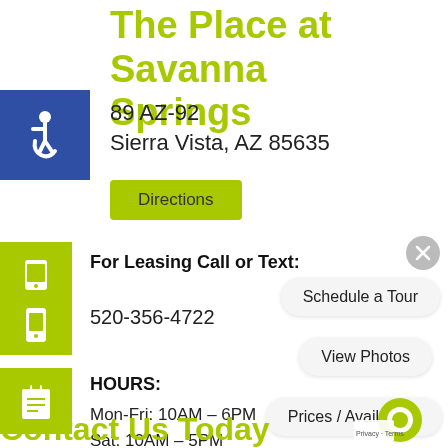The Place at Savanna Springs
[Figure (illustration): Blue square accessibility icon with wheelchair symbol]
189 AZ-92
Sierra Vista, AZ 85635
Directions
[Figure (illustration): Lime green square with phone/call icon]
For Leasing Call or Text:
[Figure (illustration): Lime green square with mobile phone icon]
520-356-4722
[Figure (illustration): Lime green square with clipboard icon]
HOURS:
Mon-Fri: 10AM – 6PM
Sat: 10AM – 5PM
Sun: CLOSED
[Figure (illustration): Gray close (X) button circle]
Schedule a Tour
View Photos
Prices / Availability
Contact Us Today